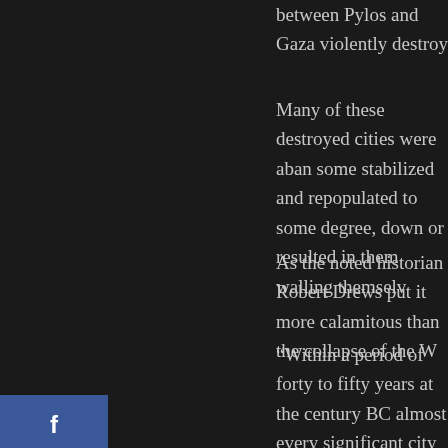between Pylos and Gaza violently destroy
Many of these destroyed cities were abandoned, some stabilized and repopulated to some degree, down or resulted in them walling themselves
As the noted historian Robert Drews put it more calamitous than the collapse of the W
“Within a period of forty to fifty years at the century BC almost every significant city in many of them never to be occupied again”
This destruction and cultural discontinuity Hesiod — who made note of common diffu Hesiod who categorized the “ages of man”
[Figure (other): Social media sharing sidebar with buttons: Facebook (blue), Twitter (light blue), Google+ (red), LinkedIn (blue), Pinterest (red), Reddit (light blue), StumbleUpon (orange-red)]